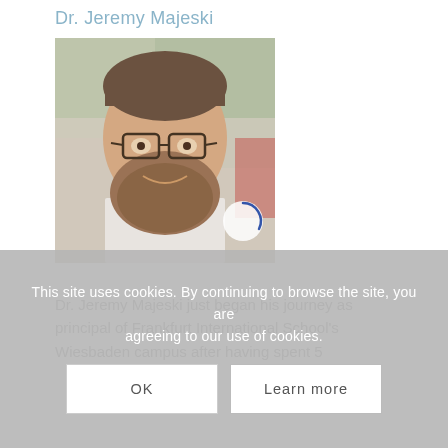Dr. Jeremy Majeski
[Figure (photo): Headshot photo of Dr. Jeremy Majeski, a bearded man wearing glasses, smiling, with an outdoor blurred background. A loading spinner circle is visible in the lower-right of the image.]
Dr. Jeremy Majeski just began his journey as principal of Frankfurt International School's Wiesbaden campus after having spent 5
This site uses cookies. By continuing to browse the site, you are agreeing to our use of cookies.